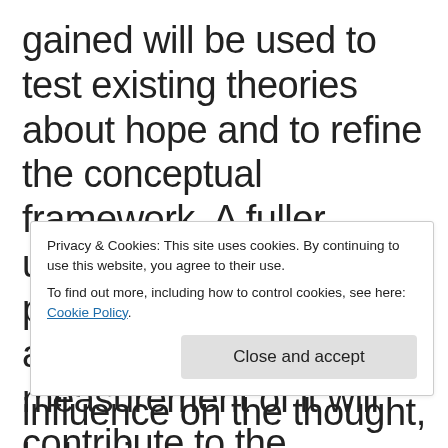gained will be used to test existing theories about hope and to refine the conceptual framework. A fuller understanding of the phenomenon hope and a fuller developed measurement of it will contribute to the capability of fostering the hope. The project
Privacy & Cookies: This site uses cookies. By continuing to use this website, you agree to their use. To find out more, including how to control cookies, see here: Cookie Policy
influence on the thought, behavior